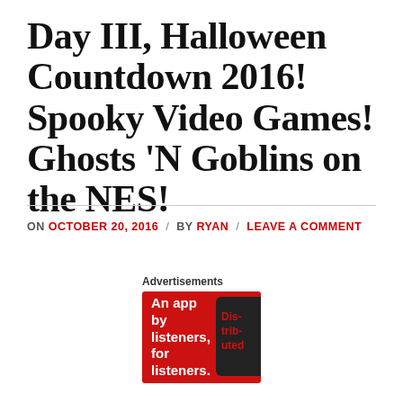Day III, Halloween Countdown 2016! Spooky Video Games! Ghosts 'N Goblins on the NES!
ON OCTOBER 20, 2016 / BY RYAN / LEAVE A COMMENT
I think I have mentioned previously as to how ruthless some NES games could be, and Capcom's Ghosts 'N Goblins is definitely on the extreme end
[Figure (other): Pocket Casts advertisement banner: red background with text 'An app by listeners, for listeners.' and Pocket Casts logo, with phone image showing 'Distributed' text]